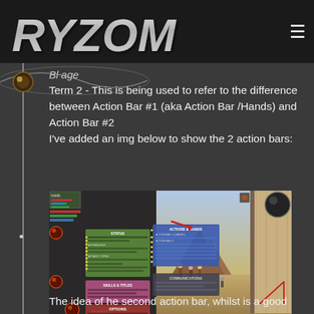RYZOM
Term 2 - This is being used to refer to the difference between Action Bar #1 (aka Action Bar /Hands) and Action Bar #2
I've added an img below to show the 2 action bars:
[Figure (screenshot): Game screenshot from Ryzom MMORPG showing the action bar menu interface with colored panels (green Actions & Hands, blue action bar #2, pink, olive, red Options panels) on the left side and the 3D game world on the right, with red arrow annotations pointing to Action Bar #1 and Action Bar #2 at the bottom.]
The idea of he second action bar, whilst is a good